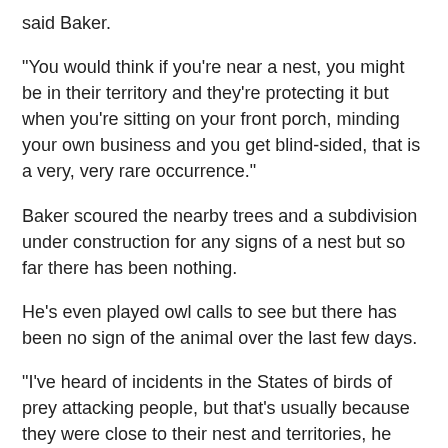said Baker.
"You would think if you're near a nest, you might be in their territory and they're protecting it but when you're sitting on your front porch, minding your own business and you get blind-sided, that is a very, very rare occurrence."
Baker scoured the nearby trees and a subdivision under construction for any signs of a nest but so far there has been nothing.
He's even played owl calls to see but there has been no sign of the animal over the last few days.
"I've heard of incidents in the States of birds of prey attacking people, but that's usually because they were close to their nest and territories, he added.
According to the Facebook group 'Whats' doin on Manitoulin", there have been similar reports of owl attacks